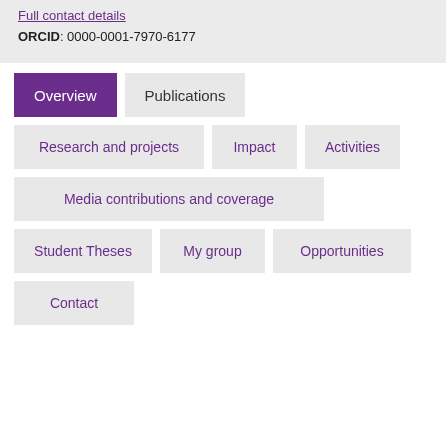Full contact details
ORCID: 0000-0001-7970-6177
Overview
Publications
Research and projects
Impact
Activities
Media contributions and coverage
Student Theses
My group
Opportunities
Contact